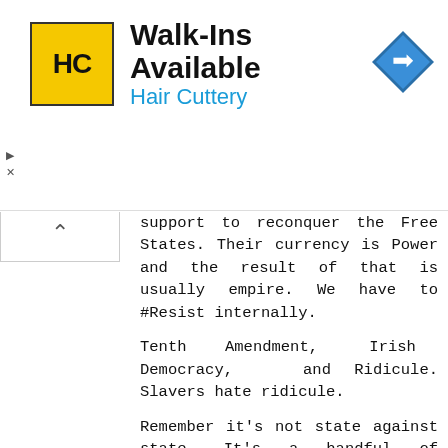[Figure (other): Hair Cuttery advertisement banner with logo, 'Walk-Ins Available' headline, and a blue navigation arrow icon]
support to reconquer the Free States. Their currency is Power and the result of that is usually empire. We have to #Resist internally.
Tenth Amendment, Irish Democracy, and Ridicule. Slavers hate ridicule.
Remember it's not state against state. It's a handful of counties that suck...the life out of the Republic through a federal government that acts like a hostile occupying power.
edutcher December 17, 2020 at 6:18 PM
lyn5 quotes an AP piece. And yiou know how reliable they are.
What McConnell actually said, "McConnell and